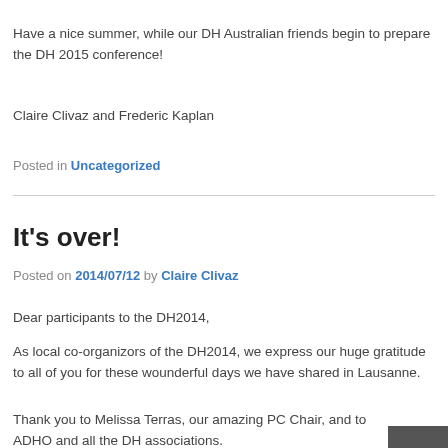Have a nice summer, while our DH Australian friends begin to prepare the DH 2015 conference!
Claire Clivaz and Frederic Kaplan
Posted in Uncategorized
It's over!
Posted on 2014/07/12 by Claire Clivaz
Dear participants to the DH2014,
As local co-organizors of the DH2014, we express our huge gratitude to all of you for these wounderful days we have shared in Lausanne.
Thank you to Melissa Terras, our amazing PC Chair, and to ADHO and all the DH associations.